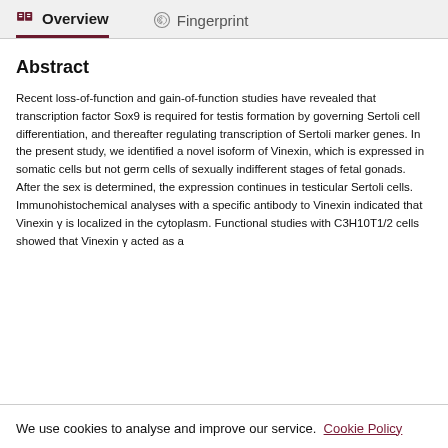Overview   Fingerprint
Abstract
Recent loss-of-function and gain-of-function studies have revealed that transcription factor Sox9 is required for testis formation by governing Sertoli cell differentiation, and thereafter regulating transcription of Sertoli marker genes. In the present study, we identified a novel isoform of Vinexin, which is expressed in somatic cells but not germ cells of sexually indifferent stages of fetal gonads. After the sex is determined, the expression continues in testicular Sertoli cells. Immunohistochemical analyses with a specific antibody to Vinexin indicated that Vinexin γ is localized in the cytoplasm. Functional studies with C3H10T1/2 cells showed that Vinexin γ acted as a
We use cookies to analyse and improve our service. Cookie Policy